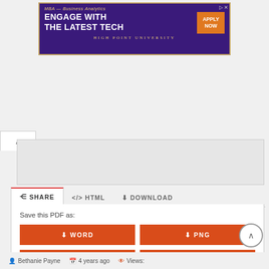[Figure (other): High Point University MBA Business Analytics advertisement banner with purple background, orange border, white bold text 'ENGAGE WITH THE LATEST TECH', orange 'APPLY NOW' button]
SHARE   </> HTML   ⬇ DOWNLOAD
Save this PDF as:
⬇ WORD
⬇ PNG
⬇ TXT
⬇ JPG
Bethanie Payne   4 years ago   Views: